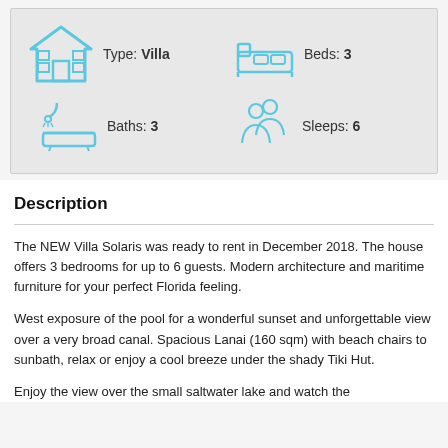[Figure (infographic): Property info card with four icons and labels: Type: Villa (house icon), Beds: 3 (bed icon), Baths: 3 (bathtub icon), Sleeps: 6 (person icon), all in light blue on grey background]
Description
The NEW Villa Solaris was ready to rent in December 2018. The house offers 3 bedrooms for up to 6 guests. Modern architecture and maritime furniture for your perfect Florida feeling.
West exposure of the pool for a wonderful sunset and unforgettable view over a very broad canal. Spacious Lanai (160 sqm) with beach chairs to sunbath, relax or enjoy a cool breeze under the shady Tiki Hut.
Enjoy the view over the small saltwater lake and watch the